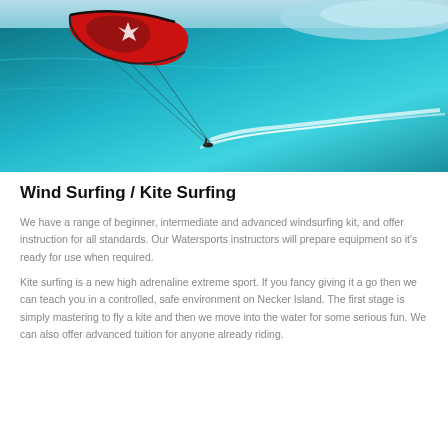[Figure (photo): Aerial view of a red and black kite surfer flying a large red kite over turquoise tropical ocean water, with a white wake trail behind the surfer.]
Wind Surfing / Kite Surfing
We have a range of beginner, intermediate and advanced windsurfing kit, and offer instruction for all standards. Our Watersports instructors will prepare equipment so it's ready for use when required.
Kite surfing is a new high adrenaline extreme sport. If you fancy giving it a go then we can teach you in a controlled, safe environment on Necker Island. The first stage is simply mastering to fly a kite and then we move into the water for some serious fun. We can also offer advanced tuition for anyone already riding.